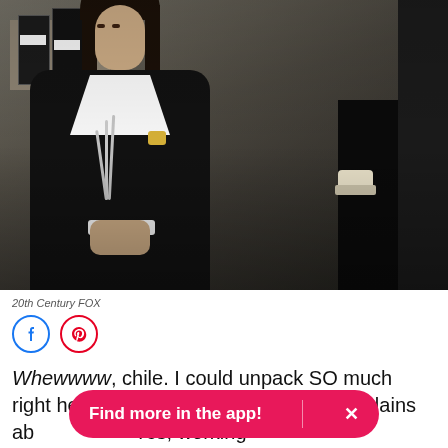[Figure (photo): Movie still from 20th Century FOX showing a young woman with dark hair wearing a black top with white lace collar and a long pearl necklace with Chanel brooch, looking upward, with a dark-suited figure on the right side.]
20th Century FOX
Whewwww, chile. I could unpack SO much right here, but let's Andy complains ab Yes, working
Find more in the app! X